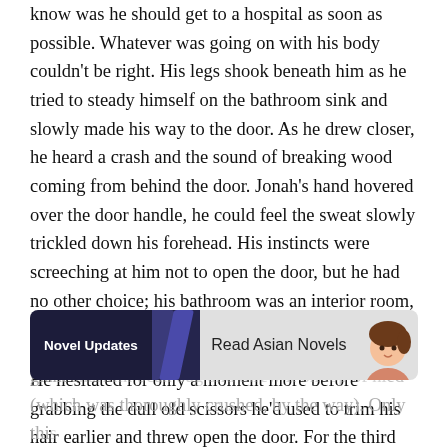know was he should get to a hospital as soon as possible. Whatever was going on with his body couldn't be right. His legs shook beneath him as he tried to steady himself on the bathroom sink and slowly made his way to the door. As he drew closer, he heard a crash and the sound of breaking wood coming from behind the door. Jonah's hand hovered over the door handle, he could feel the sweat slowly trickled down his forehead. His instincts were screeching at him not to open the door, but he had no other choice; his bathroom was an interior room, there was no window or other way out.
He hesitated for only a moment more before grabbing the dull old scissors he'd used to trim his hair earlier and threw open the door. For the third time that day, Jonah found himself too shocked to move. At first, he wasn't really sure what h... a giant s... and threw it on top of hi... (which was thoroughly crushed, by the way). Only thi...
[Figure (other): Advertisement banner overlay: dark navy background on left with 'Novel Updates' text in white bold, a divider section with decorative diagonal shapes, then a light gray section reading 'Read Asian Novels' with an anime-style character avatar on the right.]